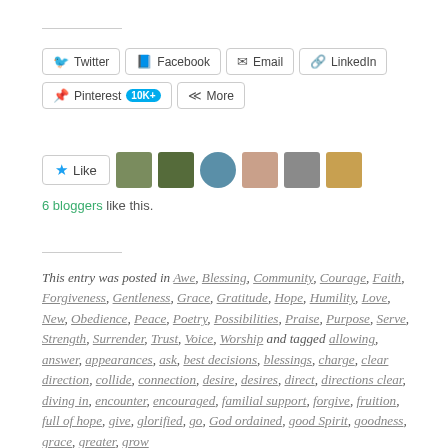[Figure (screenshot): Social share buttons: Twitter, Facebook, Email, LinkedIn, Pinterest (10K+), More]
[Figure (screenshot): Like button with star icon and 6 blogger avatar thumbnails]
6 bloggers like this.
This entry was posted in Awe, Blessing, Community, Courage, Faith, Forgiveness, Gentleness, Grace, Gratitude, Hope, Humility, Love, New, Obedience, Peace, Poetry, Possibilities, Praise, Purpose, Serve, Strength, Surrender, Trust, Voice, Worship and tagged allowing, answer, appearances, ask, best decisions, blessings, charge, clear direction, collide, connection, desire, desires, direct, directions clear, diving in, encounter, encouraged, familial support, forgive, fruition, full of hope, give, glorified, go, God ordained, good Spirit, goodness, grace, greater, grow